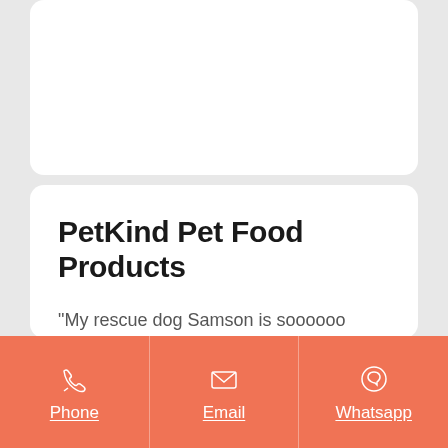PetKind Pet Food Products
"My rescue dog Samson is soooooo fussy, but when I give him your product (specifically the canned), he never leaves any of it in the bowl ?" Debra, PA "My white shepherd Sheba has very bad food allergies and your food is the only
Phone | Email | Whatsapp